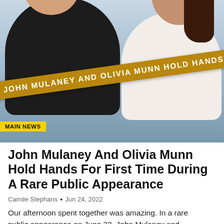[Figure (photo): Photo of John Mulaney and Olivia Munn smiling together outdoors. A man in a black Sonic Youth t-shirt and sunglasses is on the left. A woman with long dark hair is on the right. A diagonal golden-brown banner over the photo reads 'JOHN MULANEY AND OLIVIA MUNN HOLD HANDS'. A yellow tag in the lower left reads 'MAIN NEWS'.]
John Mulaney And Olivia Munn Hold Hands For First Time During A Rare Public Appearance
Camile Stephans • Jun 24, 2022
Our afternoon spent together was amazing. In a rare public appearance on June 23, John Mulaney and Olivia Munn took a stroll in the afternoon. The pair casually strolled across the Big Apple after leaving